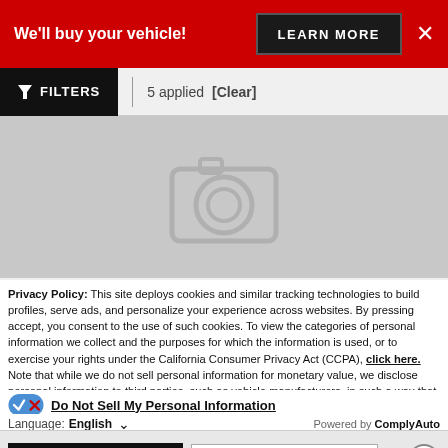We'll buy your vehicle! LEARN MORE ×
FILTERS | 5 applied [Clear]
[Figure (photo): Gray placeholder image with a camera icon outline in the center]
Privacy Policy: This site deploys cookies and similar tracking technologies to build profiles, serve ads, and personalize your experience across websites. By pressing accept, you consent to the use of such cookies. To view the categories of personal information we collect and the purposes for which the information is used, or to exercise your rights under the California Consumer Privacy Act (CCPA), click here. Note that while we do not sell personal information for monetary value, we disclose personal information to third parties, such as vehicle manufacturers, in such a way that may be considered a "sale" of personal information under the CCPA. To direct us to stop the sale of your personal information, or to re-access these settings or disclosures at anytime, click the following icon or link:
Do Not Sell My Personal Information
Language: English ∨  Powered by ComplyAuto
Accept and Continue →  California Privacy Disclosures  ×